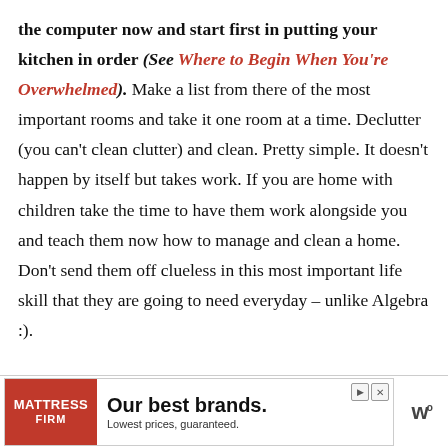the computer now and start first in putting your kitchen in order (See Where to Begin When You're Overwhelmed).  Make a list from there of the most important rooms and take it one room at a time.  Declutter (you can't clean clutter) and clean.  Pretty simple.  It doesn't happen by itself but takes work.  If you are home with children take the time to have them work alongside you and teach them now how to manage and clean a home.  Don't send them off clueless in this most important life skill that they are going to need everyday – unlike Algebra :).
[Figure (other): Mattress Firm advertisement banner: red logo on left reading 'MATTRESS FIRM', headline 'Our best brands.' with subtext 'Lowest prices, guaranteed.' Navigation arrows and close button in top right. WeatherBug logo on far right.]